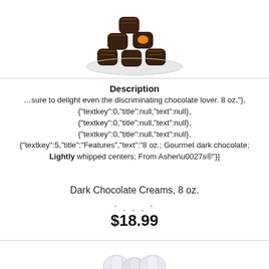[Figure (photo): Pile of dark chocolate creams on a white plate, with one showing an orange filling center]
Description
…sure to delight even the discriminating chocolate lover. 8 oz."},{"textkey":0,"title":null,"text":null}, {"textkey":0,"title":null,"text":null}, {"textkey":0,"title":null,"text":null}, {"textkey":5,"title":"Features","text":"8 oz.; Gourmet dark chocolate; Lightly whipped centers; From Asher\u0027s®"}]
Dark Chocolate Creams, 8 oz.
' , , , '
$18.99
[Figure (photo): Partial view of white chocolate or candy pieces at the bottom of the page]